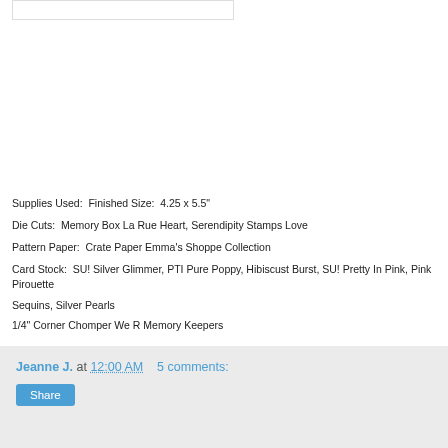[Figure (other): Partial card/craft project image at top of page, mostly cropped]
Supplies Used:  Finished Size:  4.25 x 5.5"
Die Cuts:  Memory Box La Rue Heart, Serendipity Stamps Love
Pattern Paper:  Crate Paper Emma's Shoppe Collection
Card Stock:  SU! Silver Glimmer, PTI Pure Poppy, Hibiscust Burst, SU! Pretty In Pink, Pink Pirouette
Sequins, Silver Pearls
1/4" Corner Chomper We R Memory Keepers
Jeanne J. at 12:00 AM   5 comments: